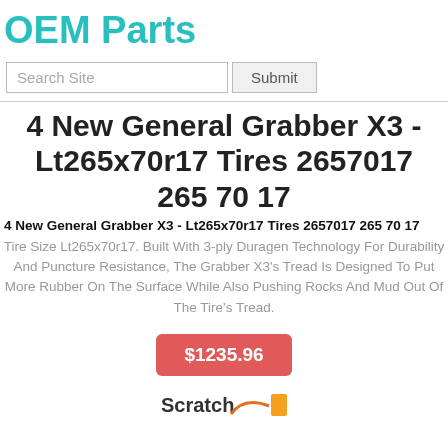OEM Parts
[Figure (screenshot): Search bar with text field 'Search Site' and a 'Submit' button]
4 New General Grabber X3 - Lt265x70r17 Tires 2657017 265 70 17
4 New General Grabber X3 - Lt265x70r17 Tires 2657017 265 70 17
Tire Size Lt265x70r17. Built With 3-ply Duragen Technology For Durability And Puncture Resistance, The Grabber X3's Tread Is Designed To Put More Rubber On The Surface While Also Pushing Rocks And Mud Out Of The Tire's Tread.
$1235.96
[Figure (logo): Scratch and other brand logos at bottom]